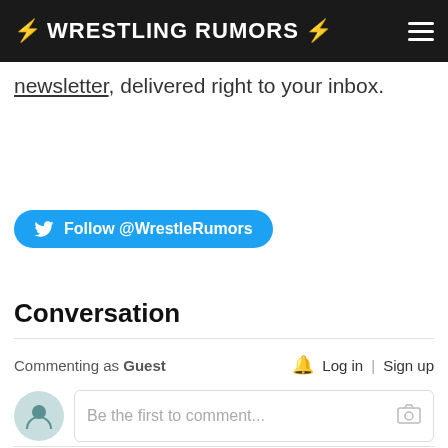WRESTLING RUMORS
newsletter, delivered right to your inbox.
[Figure (other): Twitter Follow button with @WrestleRumors handle]
Conversation
Commenting as Guest   Log in | Sign up
Be the first to comment...